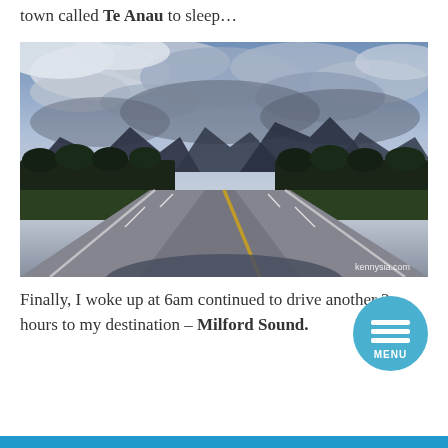town called Te Anau to sleep…
[Figure (photo): A road stretching into the distance toward mountains under a dramatic cloudy sky, photographed from inside a vehicle. Green fields line both sides of the straight road. Yellow centre line and white edge markings on the gray asphalt. Mountains visible in the background. Watermark: kennysia.com]
Finally, I woke up at 6am continued to drive another 3 hours to my destination – Milford Sound.